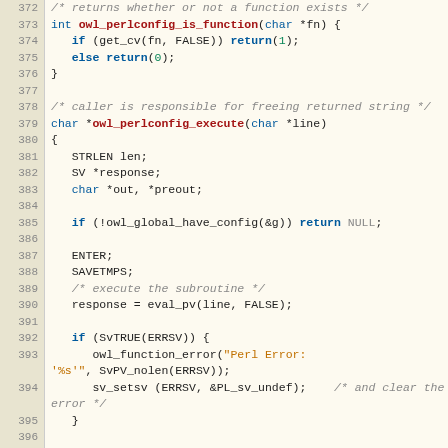[Figure (screenshot): Source code listing in C language with syntax highlighting, showing lines 372-402 of a file implementing owl_perlconfig functions. Line numbers shown in left gutter with tan/beige background. Code features keywords, function names, strings, comments in different colors.]